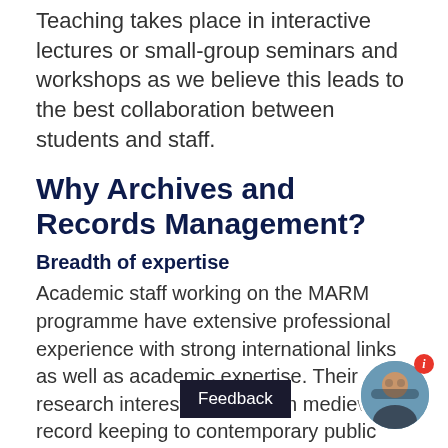Teaching takes place in interactive lectures or small-group seminars and workshops as we believe this leads to the best collaboration between students and staff.
Why Archives and Records Management?
Breadth of expertise
Academic staff working on the MARM programme have extensive professional experience with strong international links as well as academic expertise. Their research interests range from medieval record keeping to contemporary public policy.
Archives and Records Management is located in the Department of History and the